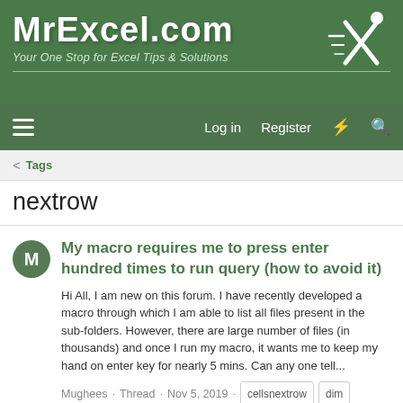MrExcel.com — Your One Stop for Excel Tips & Solutions
Log in  Register
< Tags
nextrow
My macro requires me to press enter hundred times to run query (how to avoid it)
Hi All, I am new on this forum. I have recently developed a macro through which I am able to list all files present in the sub-folders. However, there are large number of files (in thousands) and once I run my macro, it wants me to keep my hand on enter key for nearly 5 mins. Can any one tell...
Mughees · Thread · Nov 5, 2019 · cellsnextrow  dim  macro  nextrow  vba · Replies: 4 · Forum: Excel Questions
VB Code help